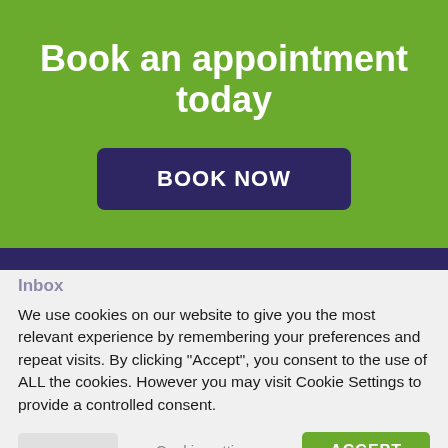Book an appointment today
BOOK NOW
We use cookies on our website to give you the most relevant experience by remembering your preferences and repeat visits. By clicking “Accept”, you consent to the use of ALL the cookies. However you may visit Cookie Settings to provide a controlled consent.
Cookie settings
ACCEPT